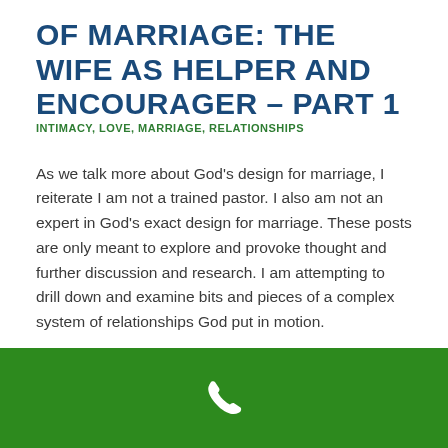OF MARRIAGE: THE WIFE AS HELPER AND ENCOURAGER – PART 1
INTIMACY, LOVE, MARRIAGE, RELATIONSHIPS
As we talk more about God's design for marriage, I reiterate I am not a trained pastor. I also am not an expert in God's exact design for marriage. These posts are only meant to explore and provoke thought and further discussion and research. I am attempting to drill down and examine bits and pieces of a complex system of relationships God put in motion.
Read more ›
[Figure (other): Green footer bar with a white phone/call icon centered in it]